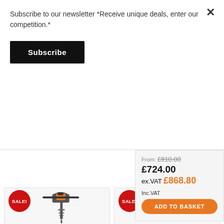Subscribe to our newsletter *Receive unique deals, enter our competition.*
Subscribe
From: £910.00
£724.00 ex.VAT £868.80 Inc.VAT
ADD TO BASKET
[Figure (photo): Earth auger / post hole digger power tool with SALE! badge]
[Figure (photo): Hedge trimmer / chainsaw power tool with SALE! badge]